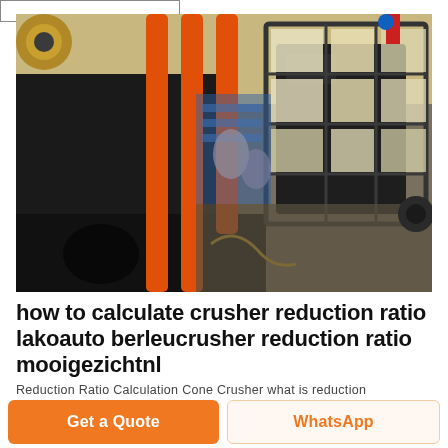[Figure (photo): Industrial workshop photo showing heavy machinery with orange hydraulic cylinders/rods, a dark metal frame/housing, viewed from above. Workshop environment with equipment visible in background.]
how to calculate crusher reduction ratio lakoauto berleucrusher reduction ratio mooigezichtnl
Reduction Ratio Calculation Cone Crusher what is reduction